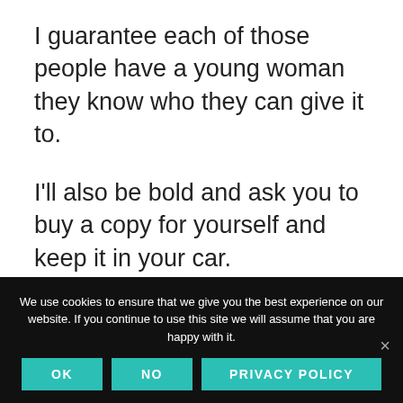I guarantee each of those people have a young woman they know who they can give it to.
I'll also be bold and ask you to buy a copy for yourself and keep it in your car.
AND THEN I ask you to pray and ask God to bring someone in your life who you can
We use cookies to ensure that we give you the best experience on our website. If you continue to use this site we will assume that you are happy with it.
OK
NO
PRIVACY POLICY